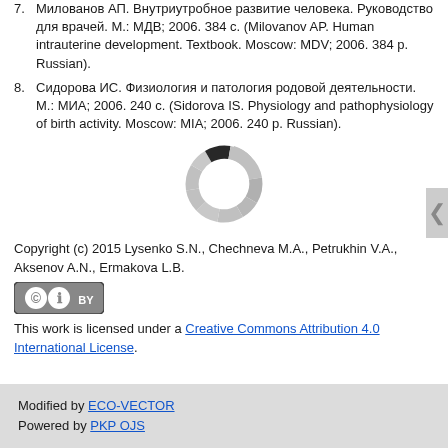7. Милованов АП. Внутриутробное развитие человека. Руководство для врачей. М.: МДВ; 2006. 384 с. (Milovanov AP. Human intrauterine development. Textbook. Moscow: MDV; 2006. 384 p. Russian).
8. Сидорова ИС. Физиология и патология родовой деятельности. М.: МИА; 2006. 240 с. (Sidorova IS. Physiology and pathophysiology of birth activity. Moscow: MIA; 2006. 240 p. Russian).
[Figure (other): Loading spinner / progress indicator circle icon]
Copyright (c) 2015 Lysenko S.N., Chechneva M.A., Petrukhin V.A., Aksenov A.N., Ermakova L.B.
[Figure (logo): Creative Commons BY license badge]
This work is licensed under a Creative Commons Attribution 4.0 International License.
Modified by ECO-VECTOR
Powered by PKP OJS